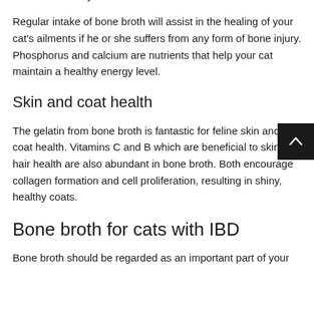maintenance of your cat's teeth and skeleton.
Regular intake of bone broth will assist in the healing of your cat's ailments if he or she suffers from any form of bone injury. Phosphorus and calcium are nutrients that help your cat maintain a healthy energy level.
Skin and coat health
The gelatin from bone broth is fantastic for feline skin and coat health. Vitamins C and B which are beneficial to skin and hair health are also abundant in bone broth. Both encourage collagen formation and cell proliferation, resulting in shiny, healthy coats.
Bone broth for cats with IBD
Bone broth should be regarded as an important part of your